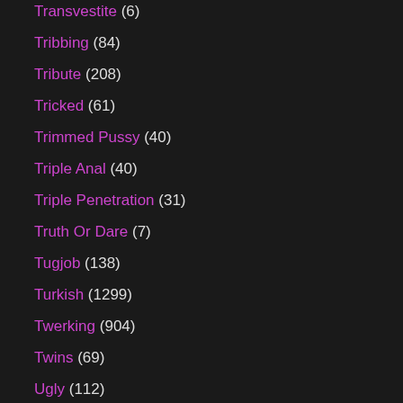Transvestite (6)
Tribbing (84)
Tribute (208)
Tricked (61)
Trimmed Pussy (40)
Triple Anal (40)
Triple Penetration (31)
Truth Or Dare (7)
Tugjob (138)
Turkish (1299)
Twerking (904)
Twins (69)
Ugly (112)
Ukrainian (123)
Uncensored (551)
Underwater (67)